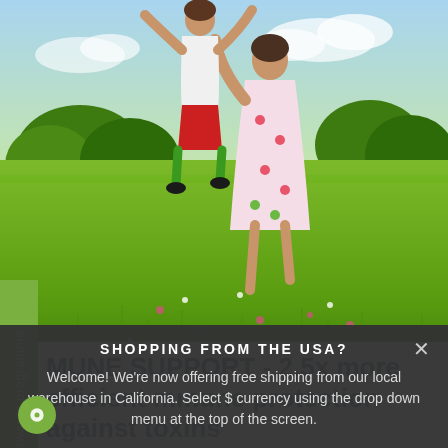[Figure (photo): Outdoor meadow scene with a child in red shorts and green socks being spun in the air by an adult in a floral dress, green field and trees in background]
MUNE SUPPORT - 2.5x more efficient mmune protection against toxins
Rewards programme
SHOPPING FROM THE USA?
Welcome! We're now offering free shipping from our local warehouse in California. Select $ currency using the drop down menu at the top of the screen.